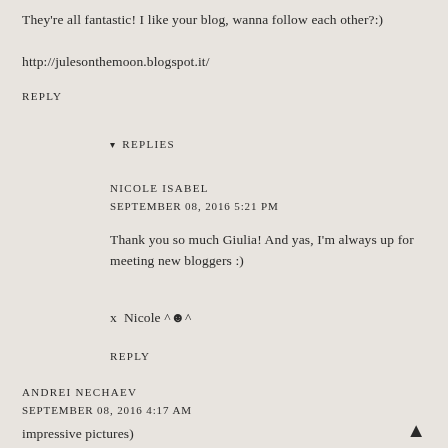They're all fantastic!  I like your blog, wanna follow each other?:)
http://julesonthemoon.blogspot.it/
REPLY
▾  REPLIES
NICOLE ISABEL
SEPTEMBER 08, 2016 5:21 PM
Thank you so much Giulia! And yas, I'm always up for meeting new bloggers :)
x  Nicole ^☻^
REPLY
ANDREI NECHAEV
SEPTEMBER 08, 2016 4:17 AM
impressive pictures)
REPLY